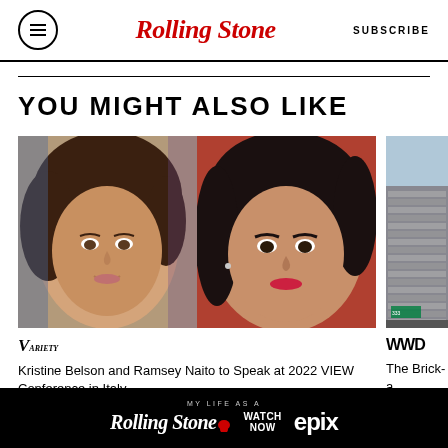Rolling Stone | SUBSCRIBE
YOU MIGHT ALSO LIKE
[Figure (photo): Two women's headshots side by side: left woman with dark brown short hair smiling, right woman with black hair and red lipstick]
VARIETY — Kristine Belson and Ramsey Naito to Speak at 2022 VIEW Conference in Italy
[Figure (photo): Exterior of a brick-and-mortar building with metallic paneling]
WWD — The Brick-a...
[Figure (other): Advertisement banner: MY LIFE AS A ROLLING STONE — WATCH NOW EPIX]